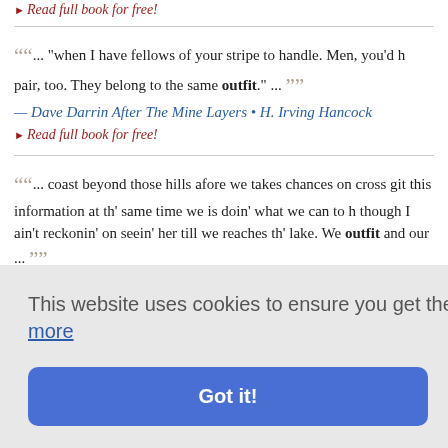▸ Read full book for free!
""... "when I have fellows of your stripe to handle. Men, you'd pair, too. They belong to the same outfit." ...
— Dave Darrin After The Mine Layers • H. Irving Hancock
▸ Read full book for free!
""... coast beyond those hills afore we takes chances on cross... git this information at th' same time we is doin' what we can to h... though I ain't reckonin' on seein' her till we reaches th' lake. We... outfit and our ...
— The Web of the Golden Spider • Frederick Orin Bartlett
...se up sudd... yourself in... the mome... nad though... when I brushed the shell grit from it after my sleep on the wharf... as the devil's tri when she appeared. My hands appeared to...
This website uses cookies to ensure you get the best experience on our website. Learn more
Got it!